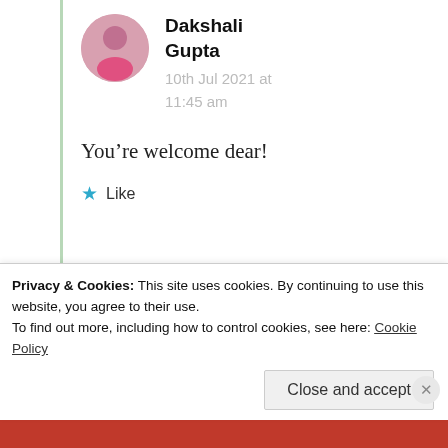Dakshali Gupta
10th Jul 2021 at 11:45 am
You’re welcome dear!
★ Like
samsahana
10th Jul 2021 at 8:32 am
Privacy & Cookies: This site uses cookies. By continuing to use this website, you agree to their use.
To find out more, including how to control cookies, see here: Cookie Policy
Close and accept